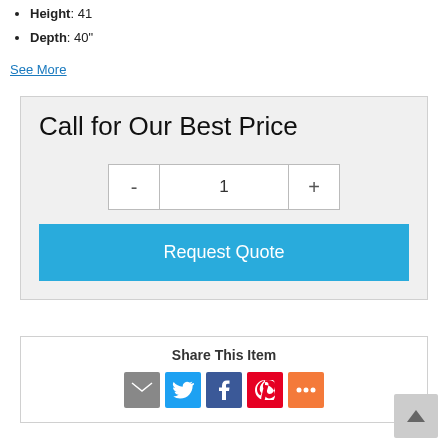Height: 41
Depth: 40"
See More
Call for Our Best Price
1
Request Quote
Share This Item